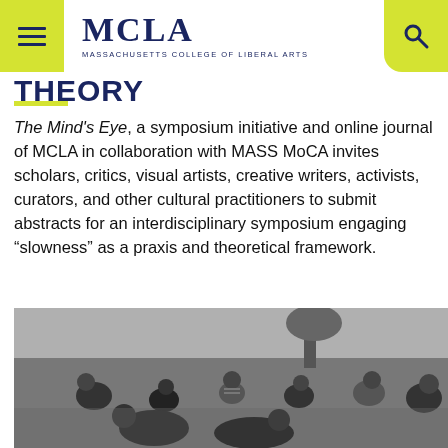MCLA — MASSACHUSETTS COLLEGE OF LIBERAL ARTS
THEORY
The Mind's Eye, a symposium initiative and online journal of MCLA in collaboration with MASS MoCA invites scholars, critics, visual artists, creative writers, activists, curators, and other cultural practitioners to submit abstracts for an interdisciplinary symposium engaging “slowness” as a praxis and theoretical framework.
[Figure (photo): Black and white photograph of a group of students sitting in a circle on grass outdoors, appearing to be engaged in discussion or a group activity.]